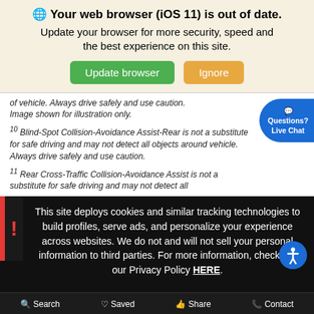🌐 Your web browser (iOS 11) is out of date. Update your browser for more security, speed and the best experience on this site.
[Figure (screenshot): Two buttons: green 'Update browser' and orange 'Ignore']
of vehicle. Always drive safely and use caution. Image shown for illustration only.
10 Blind-Spot Collision-Avoidance Assist-Rear is not a substitute for safe driving and may not detect all objects around vehicle. Always drive safely and use caution.
11 Rear Cross-Traffic Collision-Avoidance Assist is not a substitute for safe driving and may not detect all
This site deploys cookies and similar tracking technologies to build profiles, serve ads, and personalize your experience across websites. We do not and will not sell your personal information to third parties. For more information, check out our Privacy Policy HERE.
Search  Saved  Share  Contact